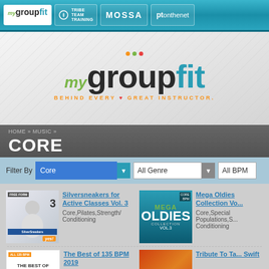mygroupfit | TRIBE TEAM TRAINING | MOSSA | ptонthenet
[Figure (logo): mygroupfit logo with tagline BEHIND EVERY GREAT INSTRUCTOR]
HOME » MUSIC »
CORE
Filter By Core | All Genre | All BPM
Silversneakers for Active Classes Vol. 3
Core,Pilates,Strength/Conditioning
Mega Oldies Collection Vol
Core,Special Populations,Strength/Conditioning
The Best of 135 BPM 2019
Tribute To Taylor Swift